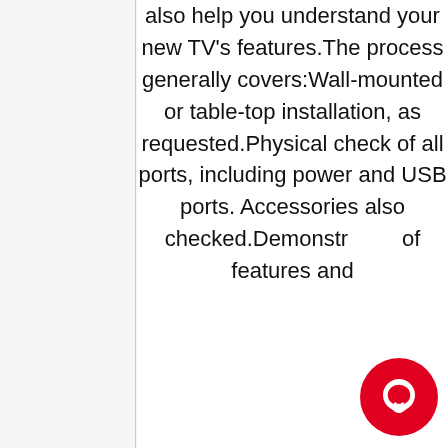also help you understand your new TV's features.The process generally covers:Wall-mounted or table-top installation, as requested.Physical check of all ports, including power and USB ports. Accessories also checked.Demonstration of features and
[Figure (other): Red circular chat/messaging button with a white speech bubble icon in the center]